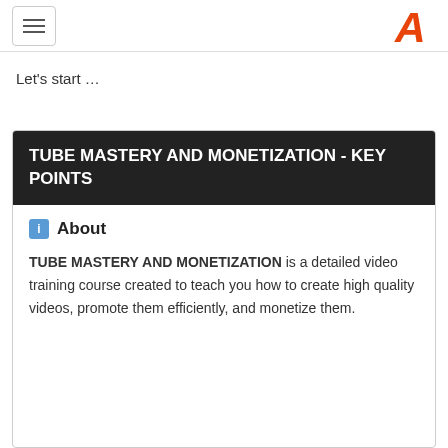[hamburger menu button] [logo: stylized A in orange]
Let's start …
TUBE MASTERY AND MONETIZATION - KEY POINTS
About
TUBE MASTERY AND MONETIZATION is a detailed video training course created to teach you how to create high quality videos, promote them efficiently, and monetize them.